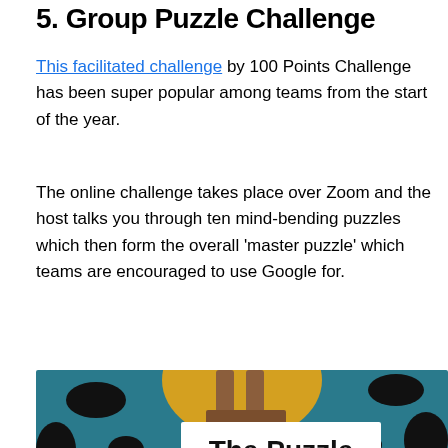5. Group Puzzle Challenge
This facilitated challenge by 100 Points Challenge has been super popular among teams from the start of the year.
The online challenge takes place over Zoom and the host talks you through ten mind-bending puzzles which then form the overall 'master puzzle' which teams are encouraged to use Google for.
[Figure (photo): Colorful illustrated puzzle image with text overlay 'The Puzzle' on a white banner, showing abstract shapes, an eye, rocket, and cow-print patterns. A share button (dark circle with share icon) is visible in the lower left.]